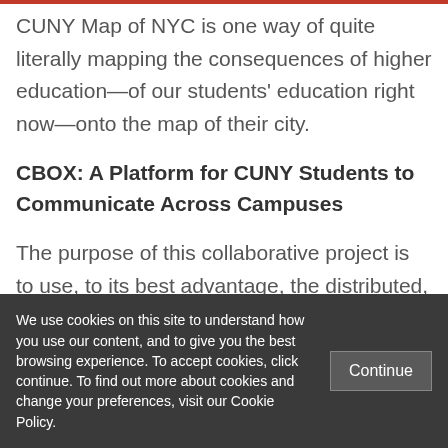CUNY Map of NYC is one way of quite literally mapping the consequences of higher education—of our students' education right now—onto the map of their city.
CBOX: A Platform for CUNY Students to Communicate Across Campuses
The purpose of this collaborative project is to use, to its best advantage, the distributed, networked structure of CUNY. As a first
We use cookies on this site to understand how you use our content, and to give you the best browsing experience. To accept cookies, click continue. To find out more about cookies and change your preferences, visit our Cookie Policy.